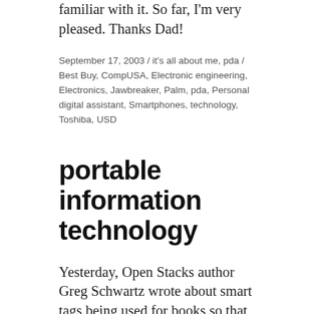familiar with it. So far, I'm very pleased. Thanks Dad!
September 17, 2003 / it's all about me, pda / Best Buy, CompUSA, Electronic engineering, Electronics, Jawbreaker, Palm, pda, Personal digital assistant, Smartphones, technology, Toshiba, USD
portable information technology
Yesterday, Open Stacks author Greg Schwartz wrote about smart tags being used for books so that wireless phone users could point their phone at the book and call up information from the OPAC or websites like Amazon.com, and